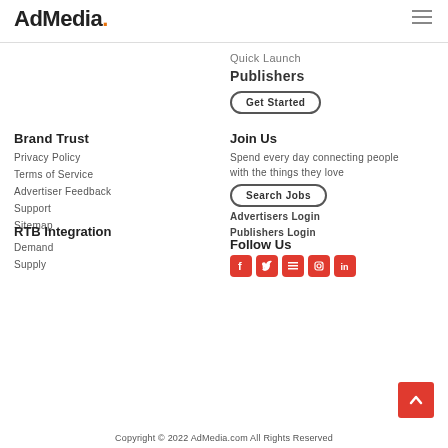AdMedia.
Quick Launch
Publishers
Get Started
Brand Trust
Privacy Policy
Terms of Service
Advertiser Feedback
Support
Sitemap
RTB Integration
Demand
Supply
Join Us
Spend every day connecting people with the things they love
Search Jobs
Advertisers Login
Publishers Login
Follow Us
[Figure (infographic): Social media icons: Facebook, Twitter, RSS/News, Instagram, LinkedIn]
Copyright © 2022 AdMedia.com All Rights Reserved